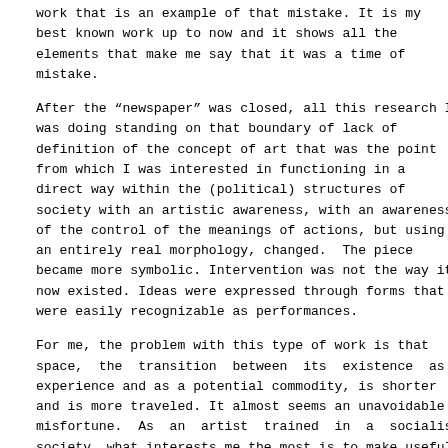work that is an example of that mistake. It is my best known work up to now and it shows all the elements that make me say that it was a time of mistake.
After the “newspaper” was closed, all this research I was doing standing on that boundary of lack of definition of the concept of art that was the point from which I was interested in functioning in a direct way within the (political) structures of society with an artistic awareness, with an awareness of the control of the meanings of actions, but using an entirely real morphology, changed. The piece became more symbolic. Intervention was not the way it now existed. Ideas were expressed through forms that were easily recognizable as performances.
For me, the problem with this type of work is that space, the transition between its existence as experience and as a potential commodity, is shorter and is more traveled. It almost seems an unavoidable misfortune. As an artist trained in a socialist society, what interests me the most is to make useful art, to be a socially useful artist.
Besides, at that time I was very interested in my work surviving as the rumor it created and not through an image which would be a set result. I knew that a live work could not be permanent. It was